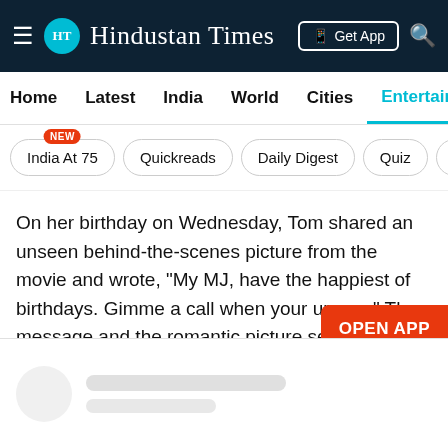Hindustan Times
Home  Latest  India  World  Cities  Entertainment
India At 75  Quickreads  Daily Digest  Quiz  V
On her birthday on Wednesday, Tom shared an unseen behind-the-scenes picture from the movie and wrote, "My MJ, have the happiest of birthdays. Gimme a call when your up xxx." The message and the romantic picture sent waves among their fans, with many dubbing it a confirmation of their relationship.